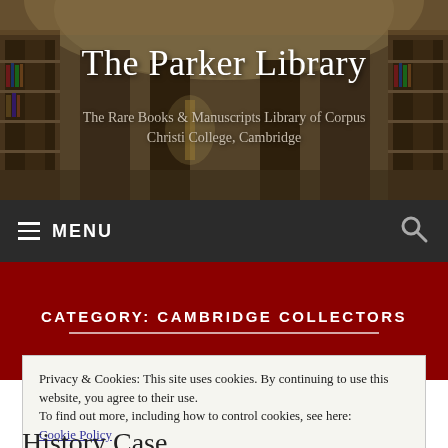[Figure (photo): Interior of a grand library hall with ornate wooden bookshelves, arched ceiling, and warm lighting serving as the website header background]
The Parker Library
The Rare Books & Manuscripts Library of Corpus Christi College, Cambridge
≡ MENU
CATEGORY: CAMBRIDGE COLLECTORS
Privacy & Cookies: This site uses cookies. By continuing to use this website, you agree to their use.
To find out more, including how to control cookies, see here:
Cookie Policy
Close and accept
History Case